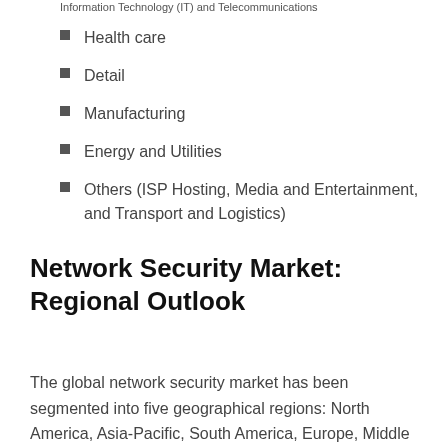Information Technology (IT) and Telecommunications
Health care
Detail
Manufacturing
Energy and Utilities
Others (ISP Hosting, Media and Entertainment, and Transport and Logistics)
Network Security Market: Regional Outlook
The global network security market has been segmented into five geographical regions: North America, Asia-Pacific, South America, Europe, Middle East and Africa. North America, followed by